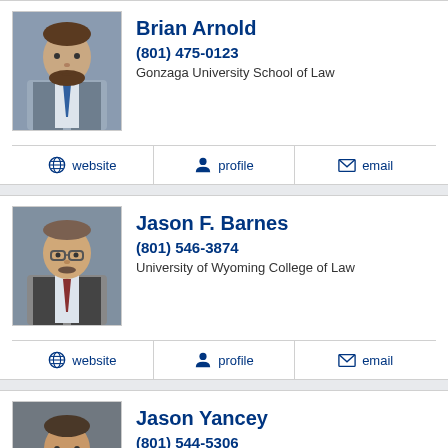Brian Arnold
(801) 475-0123
Gonzaga University School of Law
website  profile  email
Jason F. Barnes
(801) 546-3874
University of Wyoming College of Law
website  profile  email
Jason Yancey
(801) 544-5306
Brigham Young University